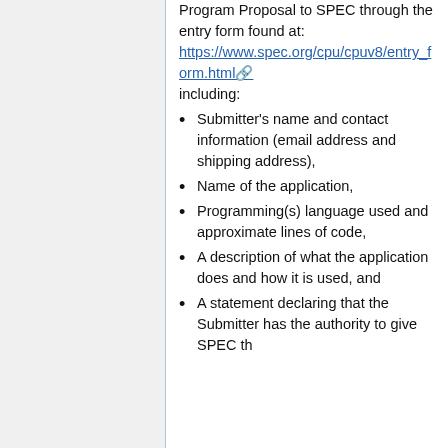Program Proposal to SPEC through the entry form found at: https://www.spec.org/cpu/cpuv8/entry_form.html including:
Submitter's name and contact information (email address and shipping address),
Name of the application,
Programming(s) language used and approximate lines of code,
A description of what the application does and how it is used, and
A statement declaring that the Submitter has the authority to give SPEC the